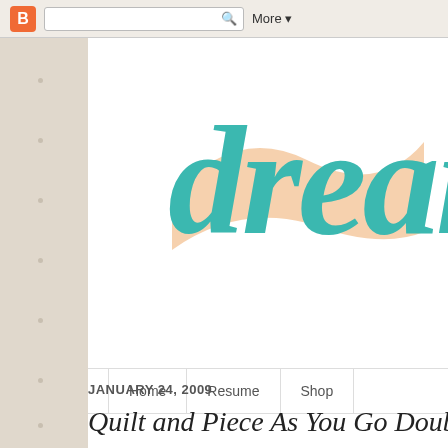[Figure (screenshot): Blogger navigation bar with orange Blogger icon, search box, and More dropdown button]
[Figure (logo): Blog header logo showing the word 'dream' in large teal cursive script over a peach swoosh brush stroke]
Home | Resume | Shop
JANUARY 24, 2009
Quilt and Piece As You Go Doubl